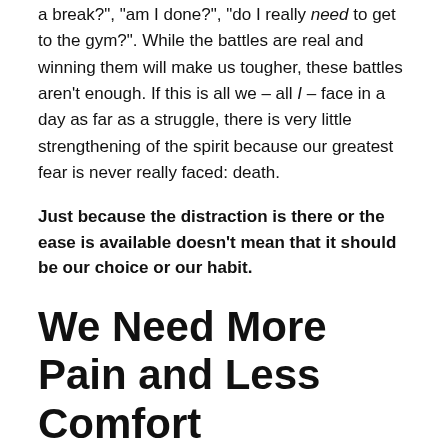a break?", "am I done?", "do I really need to get to the gym?". While the battles are real and winning them will make us tougher, these battles aren't enough. If this is all we – all I – face in a day as far as a struggle, there is very little strengthening of the spirit because our greatest fear is never really faced: death.
Just because the distraction is there or the ease is available doesn't mean that it should be our choice or our habit.
We Need More Pain and Less Comfort
I've recently opened up the pages of The Warrior Ethos, Steven Pressfield's wonderful outline of the ethos that